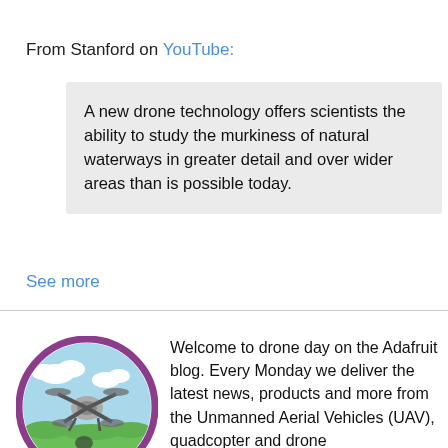From Stanford on YouTube:
A new drone technology offers scientists the ability to study the murkiness of natural waterways in greater detail and over wider areas than is possible today.
See more
[Figure (illustration): Circular illustration with purple border showing a cartoon drone/quadcopter flying over a green grassy area with blue sky and clouds]
Welcome to drone day on the Adafruit blog. Every Monday we deliver the latest news, products and more from the Unmanned Aerial Vehicles (UAV), quadcopter and drone communities. Drones can be used for video & photography (drones), civil applications, racing…